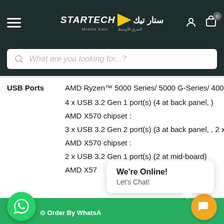[Figure (screenshot): Startech Middle East e-commerce website navigation bar with hamburger menu, logo, search bar, user and cart icons]
| Label | Value |
| --- | --- |
| USB Ports | AMD Ryzen™ 5000 Series/ 5000 G-Series/ 4000 G-S... |
|  | 4 x USB 3.2 Gen 1 port(s) (4 at back panel, ) |
|  | AMD X570 chipset : |
|  | 3 x USB 3.2 Gen 2 port(s) (3 at back panel, , 2 x Typ... |
|  | AMD X570 chipset : |
|  | 2 x USB 3.2 Gen 1 port(s) (2 at mid-board) |
|  | AMD X57... |
We're Online! Let's Chat!